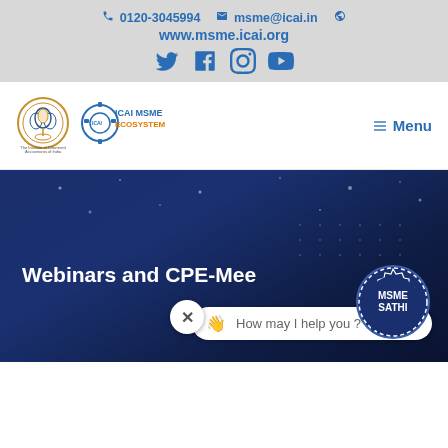📞 0120-3045994   ✉ msme@icai.in   🌐   www.msme.icai.org
[Figure (logo): Social media icons: Twitter, Facebook, Instagram, YouTube in blue]
[Figure (logo): ICAI logo (The Institute of Chartered Accountants of India) and ICAI MSME Ecosystem logo side by side, with Menu button on right]
[Figure (screenshot): Dark blue hero banner with text 'Webinars and CPE-Mee...' and MSME SATHI chat bot popup with 'How may I help you?' input field]